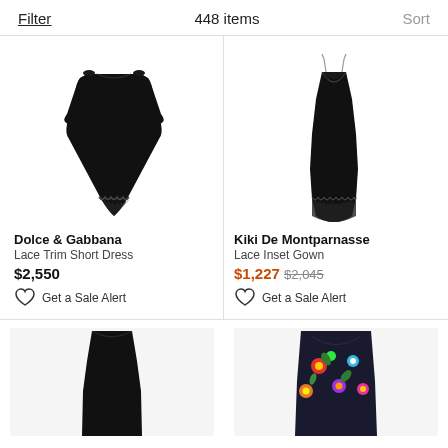Filter   448 items   Sort
[Figure (photo): Dolce & Gabbana black short dress with lace trim hem]
Dolce & Gabbana
Lace Trim Short Dress
$2,550
Get a Sale Alert
[Figure (photo): Kiki De Montparnasse black lace inset gown with spaghetti straps]
Kiki De Montparnasse
Lace Inset Gown
$1,227  $2,045
Get a Sale Alert
[Figure (photo): Black slip dress with spaghetti straps, partial view]
[Figure (photo): Black floral print sleeveless dress, partial view]